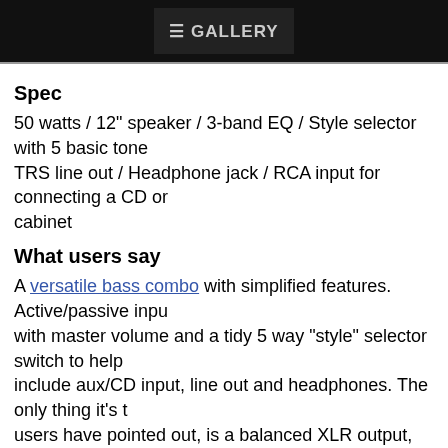[Figure (photo): Top black banner image with product branding/logo area]
Spec
50 watts / 12" speaker / 3-band EQ / Style selector with 5 basic tones / TRS line out / Headphone jack / RCA input for connecting a CD or cabinet
What users say
A versatile bass combo with simplified features. Active/passive input with master volume and a tidy 5 way "style" selector switch to help include aux/CD input, line out and headphones. The only thing it's that users have pointed out, is a balanced XLR output, although the 1/4"
Note that the aux input bypasses the EQ or style controls which is useful along to track as it was originally mastered.
Fifty solid state watts drive a 12" speaker. Tilt back cabinet which gives directional sound with all its mid and high end clarity. Great for gigging but very ruggedly assembled - another major talking point among users - the most solidly built amps you'll come across.
With the EQ balanced, the BA-112 delivers a thumpy, warm, rich am